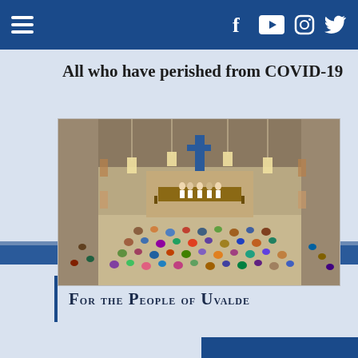Navigation bar with hamburger menu and social icons (Facebook, YouTube, Instagram, Twitter)
All who have perished from COVID-19
And for those who mourn them.
[Figure (photo): Interior of a large church sanctuary viewed from above, showing a crowd of people seated on the floor during a service, with an altar, cross, and hanging lights visible at the front.]
For the People of Uvalde